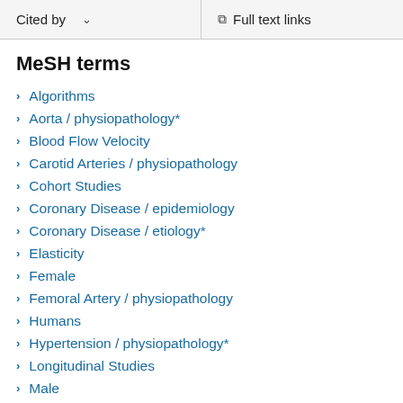Cited by   Full text links
MeSH terms
Algorithms
Aorta / physiopathology*
Blood Flow Velocity
Carotid Arteries / physiopathology
Cohort Studies
Coronary Disease / epidemiology
Coronary Disease / etiology*
Elasticity
Female
Femoral Artery / physiopathology
Humans
Hypertension / physiopathology*
Longitudinal Studies
Male
Middle Aged